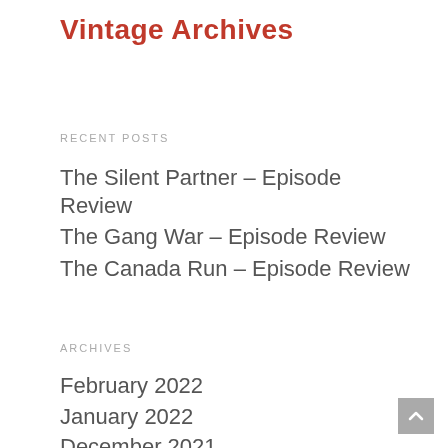Vintage Archives
Recent Posts
The Silent Partner – Episode Review
The Gang War – Episode Review
The Canada Run – Episode Review
Archives
February 2022
January 2022
December 2021